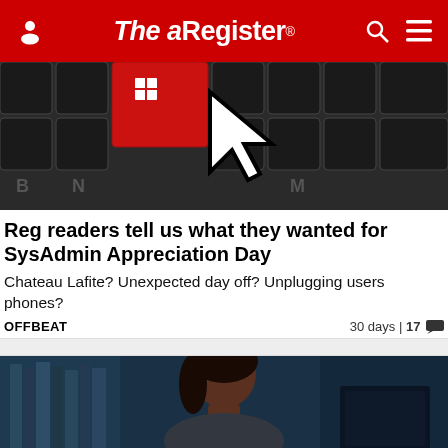The Register
[Figure (photo): Close-up of keyboard with a red Windows key and a large white pixel-art cursor/hand pointer graphic overlaying the keys]
Reg readers tell us what they wanted for SysAdmin Appreciation Day
Chateau Lafite? Unexpected day off? Unplugging users phones?
OFFBEAT	30 days | 17 comments
[Figure (photo): Woman with dark hair viewed from behind/side, sitting in front of a laptop/monitor in a dark office setting]